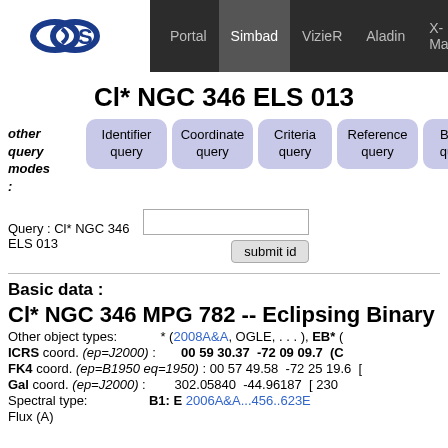Portal | Simbad | VizieR | Aladin | X-Match | Other
Cl* NGC 346 ELS 013
other query modes: Identifier query | Coordinate query | Criteria query | Reference query | Basic query
Query : Cl* NGC 346 ELS 013  [input field]  submit id
Basic data :
Cl* NGC 346 MPG 782 -- Eclipsing Binary
Other object types:  * (2008A&A, OGLE, ...), EB* (
ICRS coord. (ep=J2000) : 00 59 30.37 -72 09 09.7 (C
FK4 coord. (ep=B1950 eq=1950) : 00 57 49.58 -72 25 19.6 [
Gal coord. (ep=J2000) :  302.05840 -44.96187 [ 230
Spectral type:  B1: E  2006A&A...456..623E
Flux (A)